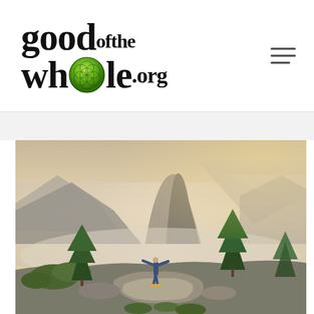[Figure (logo): goodofthe whole.org logo with green globe replacing the 'o' in 'whole', large bold serif text]
[Figure (photo): Person standing on a rocky outcrop with arms outstretched, overlooking a misty mountain valley with Half Dome visible in the background, pine trees on either side, warm hazy sunrise light]